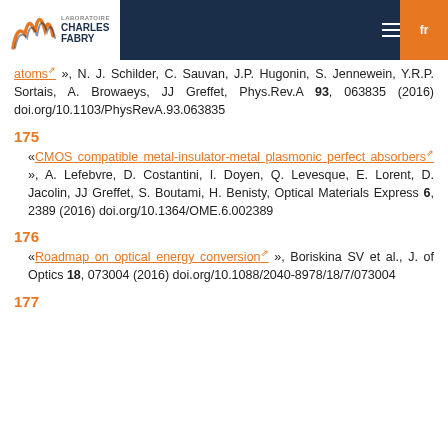Laboratoire Charles Fabry — Navigation header
atoms », N. J. Schilder, C. Sauvan, J.P. Hugonin, S. Jennewein, Y.R.P. Sortais, A. Browaeys, JJ Greffet, Phys.Rev.A 93, 063835 (2016) doi.org/10.1103/PhysRevA.93.063835
175 «CMOS compatible metal-insulator-metal plasmonic perfect absorbers », A. Lefebvre, D. Costantini, I. Doyen, Q. Levesque, E. Lorent, D. Jacolin, JJ Greffet, S. Boutami, H. Benisty, Optical Materials Express 6, 2389 (2016) doi.org/10.1364/OME.6.002389
176 «Roadmap on optical energy conversion », Boriskina SV et al., J. of Optics 18, 073004 (2016) doi.org/10.1088/2040-8978/18/7/073004
177